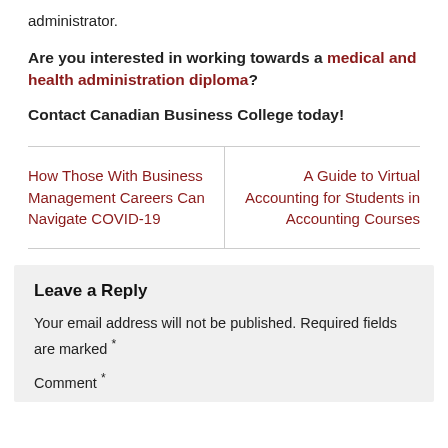administrator.
Are you interested in working towards a medical and health administration diploma?
Contact Canadian Business College today!
How Those With Business Management Careers Can Navigate COVID-19
A Guide to Virtual Accounting for Students in Accounting Courses
Leave a Reply
Your email address will not be published. Required fields are marked *
Comment *